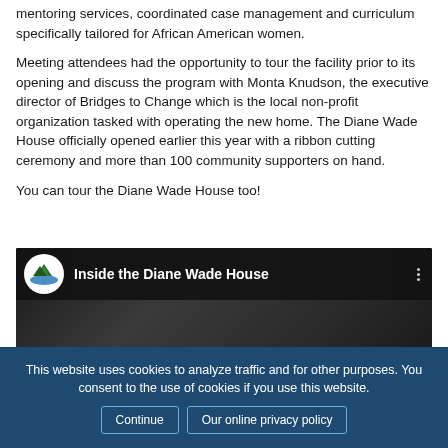mentoring services, coordinated case management and curriculum specifically tailored for African American women.
Meeting attendees had the opportunity to tour the facility prior to its opening and discuss the program with Monta Knudson, the executive director of Bridges to Change which is the local non-profit organization tasked with operating the new home. The Diane Wade House officially opened earlier this year with a ribbon cutting ceremony and more than 100 community supporters on hand.
You can tour the Diane Wade House too!
[Figure (screenshot): YouTube-style video embed showing 'Inside the Diane Wade House' with a Bridges to Change logo circle on the left and three-dot menu on the right, dark background with thumbnail image below.]
This website uses cookies to analyze traffic and for other purposes. You consent to the use of cookies if you use this website.
Continue  |  Our online privacy policy